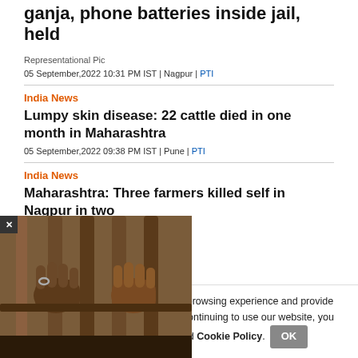ganja, phone batteries inside jail, held
Representational Pic
05 September,2022 10:31 PM IST | Nagpur | PTI
India News
Lumpy skin disease: 22 cattle died in one month in Maharashtra
05 September,2022 09:38 PM IST | Pune | PTI
India News
Maharashtra: Three farmers killed self in Nagpur in two
[Figure (photo): Hands gripping jail bars, representational photo for jail-related news story]
nilar technologies, to enhance your browsing experience and provide personalised recommendations. By continuing to use our website, you agree to our Privacy Policy and Cookie Policy.